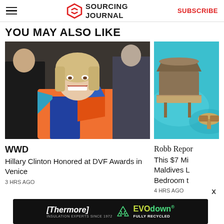Sourcing Journal — SUBSCRIBE
YOU MAY ALSO LIKE
[Figure (photo): Hillary Clinton smiling, wearing an orange and blue patterned jacket, seated at an event]
WWD
Hillary Clinton Honored at DVF Awards in Venice
3 HRS AGO
[Figure (photo): Aerial view of overwater bungalows in turquoise Maldives water]
Robb Repor
This $7 Mi Maldives L Bedroom t
4 HRS AGO
[Figure (other): Thermore EVO down advertisement banner — Insulation Experts Since 1972, Fully Recycled]